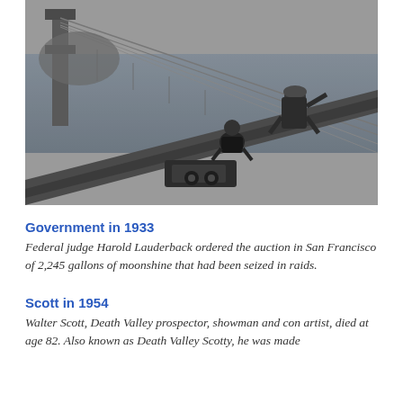[Figure (photo): Black and white photograph of workers on a bridge cable, likely the Golden Gate Bridge under construction. Two workers are visible on a large cable with the bay and bridge tower in the background.]
Government in 1933
Federal judge Harold Lauderback ordered the auction in San Francisco of 2,245 gallons of moonshine that had been seized in raids.
Scott in 1954
Walter Scott, Death Valley prospector, showman and con artist, died at age 82. Also known as Death Valley Scotty, he was made